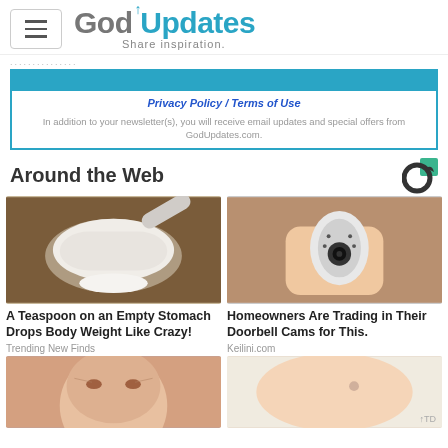GodUpdates – Share inspiration.
Privacy Policy / Terms of Use
In addition to your newsletter(s), you will receive email updates and special offers from GodUpdates.com.
Around the Web
[Figure (photo): A plastic measuring scoop filled with white powder on a wooden surface]
A Teaspoon on an Empty Stomach Drops Body Weight Like Crazy!
Trending New Finds
[Figure (photo): A hand holding a small white security camera]
Homeowners Are Trading in Their Doorbell Cams for This.
Keilini.com
[Figure (photo): Close-up of an elderly person's face]
[Figure (photo): Close-up of skin with a small mark or tattoo]